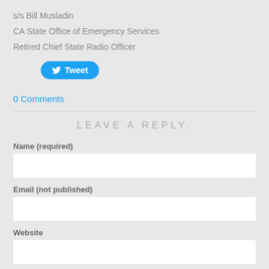s/s Bill Musladin
CA State Office of Emergency Services
Retired Chief State Radio Officer
[Figure (other): Twitter Tweet button in blue rounded rectangle]
0 Comments
LEAVE A REPLY.
Name (required)
Email (not published)
Website
Comments (required)